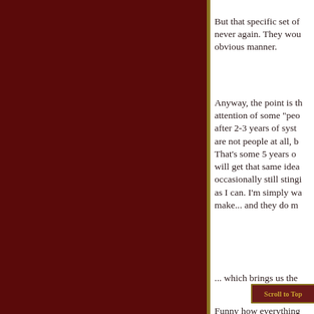But that specific set of... never again. They wou... obvious manner.
Anyway, the point is th... attention of some "peo... after 2-3 years of syst... are not people at all, ... That's some 5 years o... will get that same idea... occasionally still stingi... as I can. I'm simply wa... make... and they do m...
... which brings us the...
Scroll to Top
Funny how everything...